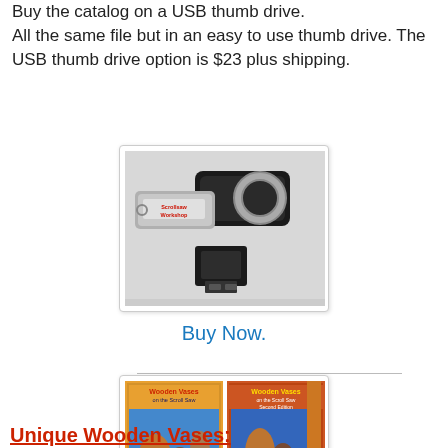Buy the catalog on a USB thumb drive. All the same file but in an easy to use thumb drive. The USB thumb drive option is $23 plus shipping.
[Figure (photo): A USB thumb drive with 'Scrollsaw Workshop' label, shown open with connector visible]
Buy Now.
[Figure (photo): Two book covers side by side titled 'Wooden Vases on the Scroll Saw' and 'Wooden Vases on the Scroll Saw Second Edition']
Unique Wooden Vases: